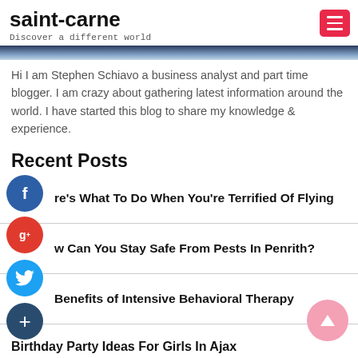saint-carne
Discover a different world
[Figure (photo): Partial header image strip, dark blue gradient at top of content area]
Hi I am Stephen Schiavo a business analyst and part time blogger. I am crazy about gathering latest information around the world. I have started this blog to share my knowledge & experience.
Recent Posts
re's What To Do When You're Terrified Of Flying
w Can You Stay Safe From Pests In Penrith?
Benefits of Intensive Behavioral Therapy
Birthday Party Ideas For Girls In Ajax